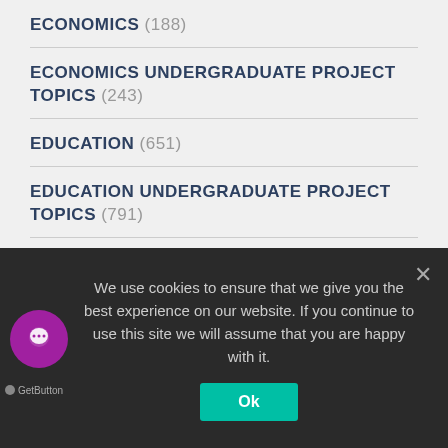ECONOMICS (188)
ECONOMICS UNDERGRADUATE PROJECT TOPICS (243)
EDUCATION (651)
EDUCATION UNDERGRADUATE PROJECT TOPICS (791)
ENGLISH PROJECT TOPICS (24)
ENVIRONMENTAL SCIENCE (23)
ENVIRONMENTAL SCIENCE UNDERGRADUATE PROJECT TOPICS (43)
ESTATE MANAGEMENT (8)
ESTATE MANAGEMENT UNDERGRADUATE PROJECT
We use cookies to ensure that we give you the best experience on our website. If you continue to use this site we will assume that you are happy with it.